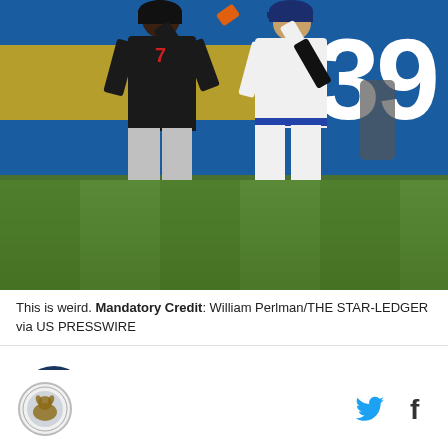[Figure (photo): Two baseball players on a field fist-bumping or greeting each other. The left player wears a dark (black) uniform with number 7, and the right player wears a white New York Mets uniform with number 5. They are on a baseball field with a blue outfield wall and a yellow advertisement partially visible. The number 39 is visible in white on the blue wall.]
This is weird. Mandatory Credit: William Perlman/THE STAR-LEDGER via US PRESSWIRE
Loading your audio article
[Figure (logo): Sports website logo - circular logo with animal figure]